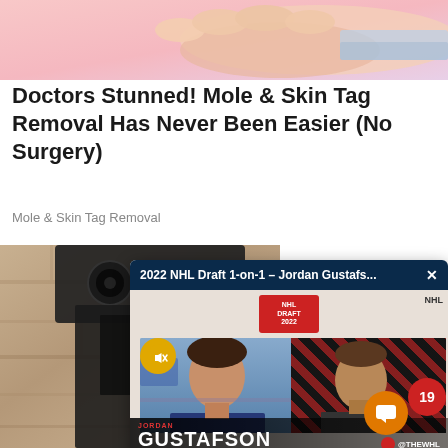[Figure (illustration): Pink and white illustrated advertisement image showing a hand/skin close-up]
Doctors Stunned! Mole & Skin Tag Removal Has Never Been Easier (No Surgery)
Mole & Skin Tag Removal
[Figure (screenshot): Screenshot of a video player showing '2022 NHL Draft 1-on-1 – Jordan Gustafs...' with a mute button, two video panels showing an interviewee and interviewer, and 'GUSTAFSON' name bar at the bottom, overlaid on a stone wall background photo. Notification badge showing 19 and an orange chat button are visible.]